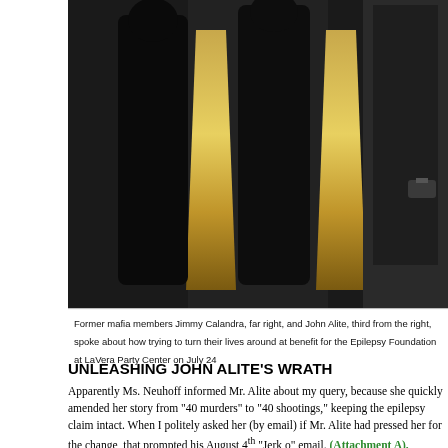[Figure (photo): Dark photograph of former mafia members at a benefit event, figures in dark suits against a dark background with gold/amber decorative shapes]
Former mafia members Jimmy Calandra, far right, and John Alite, third from the right, spoke about how trying to turn their lives around at benefit for the Epilepsy Foundation at LaVera Party Center on July 24
UNLEASHING JOHN ALITE'S WRATH
Apparently Ms. Neuhoff informed Mr. Alite about my query, because she quickly amended her story from "40 murders" to "40 shootings," keeping the epilepsy claim intact. When I politely asked her (by email) if Mr. Alite had pressed her for the change, that prompted his August 4th "Jerk o" email. (Attachment A).
That email in which he made the "heroin addict" claim and falsely suggested that I'd tried "to sleep with reporters from Daily Mail," (s) I was a "lap dog," "boy toy with no pride," and "a joke," also contained a revelatory challenge.
In it, Mr. Alite invited me to join him a on Mulberry Street, in New York's Little Italy, suggesting that he was crossing the Hudson with impunity